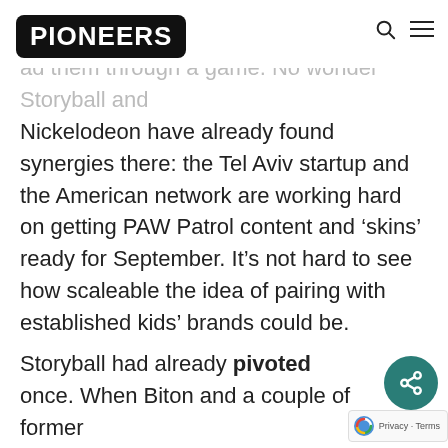PIONEERS
ad them through a game. No wonder Storyball and Nickelodeon have already found synergies there: the Tel Aviv startup and the American network are working hard on getting PAW Patrol content and ‘skins’ ready for September. It’s not hard to see how scaleable the idea of pairing with established kids’ brands could be.
Storyball had already pivoted once. When Biton and a couple of former